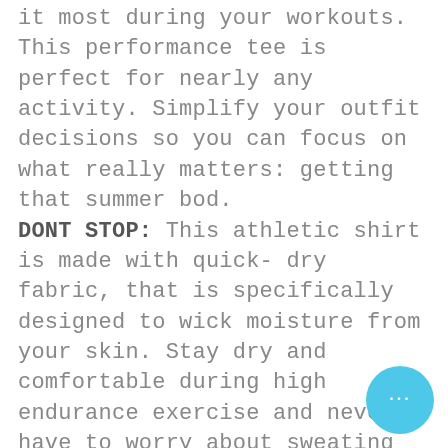it most during your workouts. This performance tee is perfect for nearly any activity. Simplify your outfit decisions so you can focus on what really matters: getting that summer bod. DONT STOP: This athletic shirt is made with quick-dry fabric, that is specifically designed to wick moisture from your skin. Stay dry and comfortable during high endurance exercise and never have to worry about sweating through your top. FITTED TO YOU: Fitted to support you, this workout tee is designed to hug your upper torso and allow for room in the mid section. Just fitted enough to show off how toned you are, but not enough to restrict your motion. YOUR LIFESTYLE: This athletic top can fit into whatever lifestyle you throw at it. Hitting the crow pose, going for a jog, or lounging at home;
[Figure (other): Cyan circular chat bubble button with ellipsis (three dots) in bottom right corner]